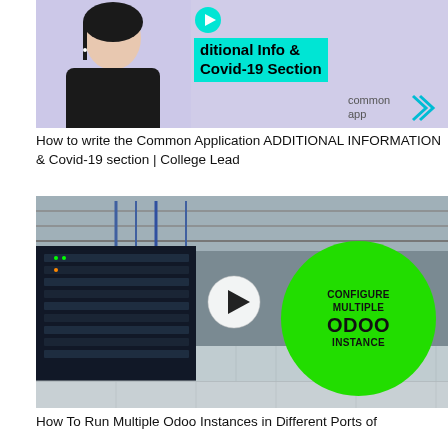[Figure (screenshot): Thumbnail image showing a woman on a lavender background with cyan text box reading 'ditional Info & Covid-19 Section' and Common App logo]
How to write the Common Application ADDITIONAL INFORMATION & Covid-19 section | College Lead
[Figure (screenshot): Thumbnail of a server room/data center with a play button icon in the center and a green circle on the right with text 'CONFIGURE MULTIPLE ODOO INSTANCE']
How To Run Multiple Odoo Instances in Different Ports of